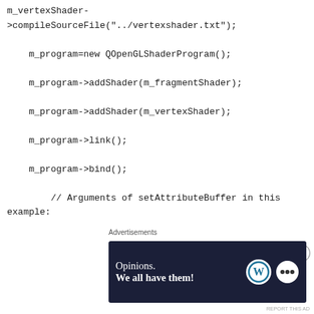m_vertexShader-
>compileSourceFile("../vertexshader.txt");

    m_program=new QOpenGLShaderProgram();

    m_program->addShader(m_fragmentShader);

    m_program->addShader(m_vertexShader);

    m_program->link();

    m_program->bind();

        // Arguments of setAttributeBuffer in this
example:
[Figure (other): Advertisement banner: dark navy background with text 'Opinions. We all have them!' and WordPress and another logo on the right. Labeled 'Advertisements' above.]